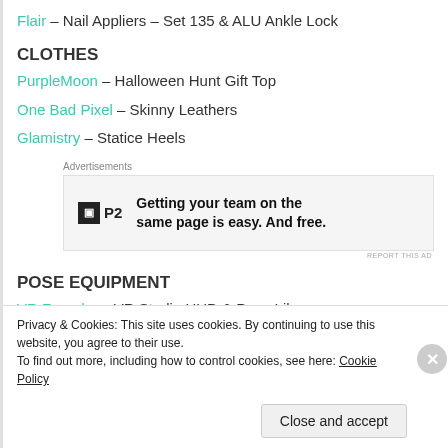Flair – Nail Appliers – Set 135 & ALU Ankle Lock
CLOTHES
PurpleMoon – Halloween Hunt Gift Top
One Bad Pixel – Skinny Leathers
Glamistry – Statice Heels
[Figure (other): P2 advertisement banner: 'Getting your team on the same page is easy. And free.']
POSE EQUIPMENT
VR Foundry – VR Studio HUD & Pose Library
Adorkable – Pose
DECOR
Privacy & Cookies: This site uses cookies. By continuing to use this website, you agree to their use.
To find out more, including how to control cookies, see here: Cookie Policy